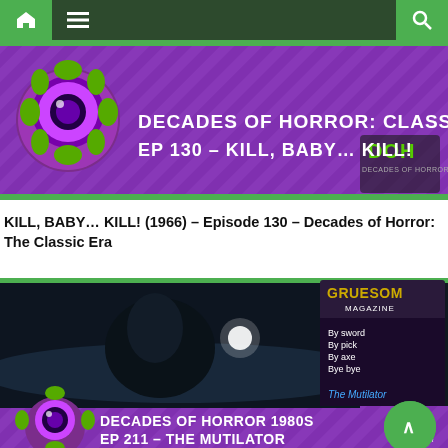Navigation bar with home, menu, and search icons
[Figure (illustration): Decades of Horror: Classic Era podcast banner — EP 130 - KILL, BABY... KILL! with DOH logo and spooky eyeball mascot on purple background]
KILL, BABY… KILL! (1966) – Episode 130 – Decades of Horror: The Classic Era
[Figure (illustration): Decades of Horror 1980s EP 211 - THE MUTILATOR — dark scene of figure at car with Gruesom Magazine overlay showing The Mutilator movie poster (By sword, By pick, By axe, Bye bye) and DOH logo on purple background]